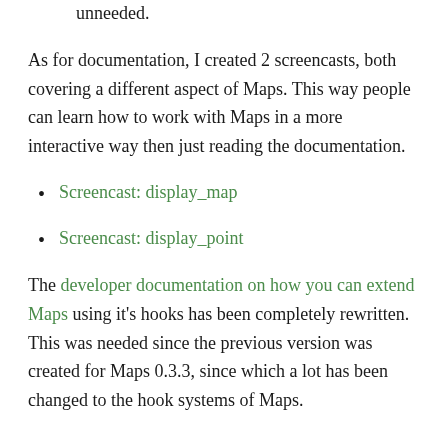unneeded.
As for documentation, I created 2 screencasts, both covering a different aspect of Maps. This way people can learn how to work with Maps in a more interactive way then just reading the documentation.
Screencast: display_map
Screencast: display_point
The developer documentation on how you can extend Maps using it’s hooks has been completely rewritten. This was needed since the previous version was created for Maps 0.3.3, since which a lot has been changed to the hook systems of Maps.